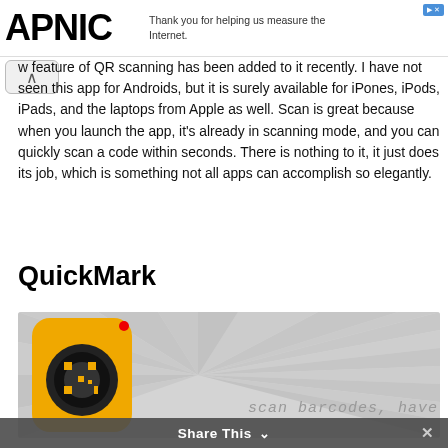APNIC — Thank you for helping us measure the Internet.
w feature of QR scanning has been added to it recently. I have not seen this app for Androids, but it is surely available for iPones, iPods, iPads, and the laptops from Apple as well. Scan is great because when you launch the app, it's already in scanning mode, and you can quickly scan a code within seconds. There is nothing to it, it just does its job, which is something not all apps can accomplish so elegantly.
QuickMark
[Figure (screenshot): QuickMark app screenshot showing a yellow rounded-square app icon with a QR code scanner graphic, against a sunburst gray background, with the text 'scan barcodes, have fun!']
Share This ∨  ×